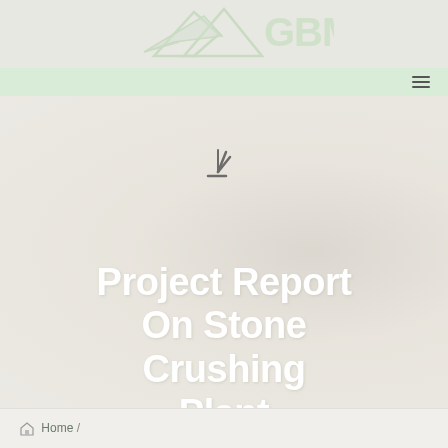[Figure (logo): GBM logo with mountain/arrow graphic and text 'GBM' in light green on grey background header]
[Figure (screenshot): Navigation bar with hamburger menu icon on right, light green background]
Project Report On Stone Crushing Plant
Home /